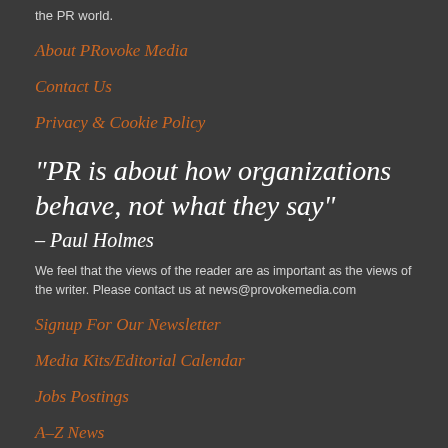the PR world.
About PRovoke Media
Contact Us
Privacy & Cookie Policy
"PR is about how organizations behave, not what they say"
– Paul Holmes
We feel that the views of the reader are as important as the views of the writer. Please contact us at news@provokemedia.com
Signup For Our Newsletter
Media Kits/Editorial Calendar
Jobs Postings
A–Z News